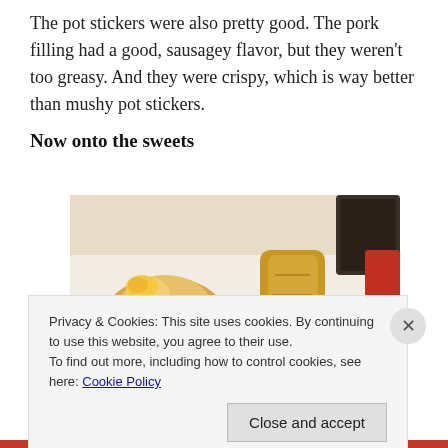The pot stickers were also pretty good. The pork filling had a good, sausagey flavor, but they weren't too greasy. And they were crispy, which is way better than mushy pot stickers.
Now onto the sweets
[Figure (photo): Photo of assorted baked pastries and sweets on a white surface, including twisted bread rolls and elongated flaky pastry.]
Privacy & Cookies: This site uses cookies. By continuing to use this website, you agree to their use.
To find out more, including how to control cookies, see here: Cookie Policy
Close and accept